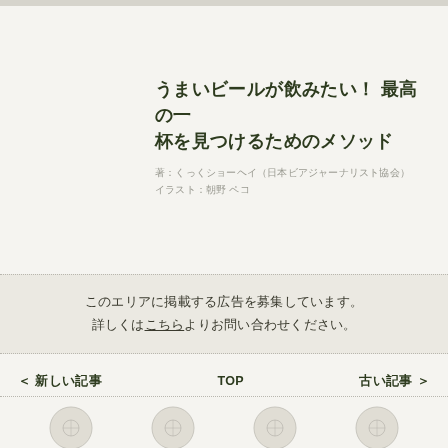うまいビールが飲みたい！ 最高の一杯を見つけるためのメソッド
著：くっくショーヘイ（日本ビアジャーナリスト協会）
イラスト：朝野 ペコ
このエリアに掲載する広告を募集しています。詳しくはこちらよりお問い合わせください。
＜ 新しい記事　　　　　　　TOP　　　　　　　古い記事 ＞